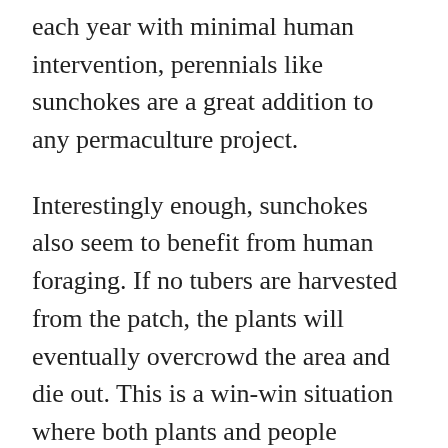each year with minimal human intervention, perennials like sunchokes are a great addition to any permaculture project.
Interestingly enough, sunchokes also seem to benefit from human foraging. If no tubers are harvested from the patch, the plants will eventually overcrowd the area and die out. This is a win-win situation where both plants and people benefit.
Plus, sunchokes are delicious.
Although they do come with some, ah, dietary challenges.